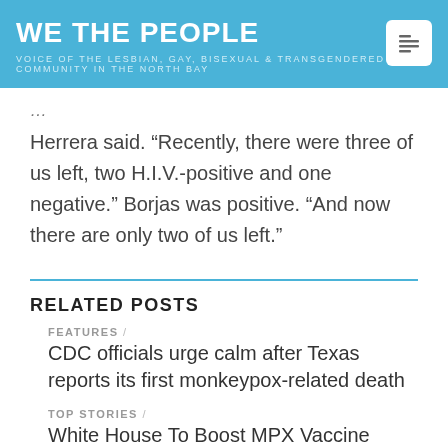WE THE PEOPLE
VOICE OF THE LESBIAN, GAY, BISEXUAL & TRANSGENDERED COMMUNITY IN THE NORTH BAY
Herrera said. “Recently, there were three of us left, two H.I.V.-positive and one negative.” Borjas was positive. “And now there are only two of us left.”
RELATED POSTS
FEATURES /
CDC officials urge calm after Texas reports its first monkeypox-related death
TOP STORIES /
White House To Boost MPX Vaccine Outreach At...